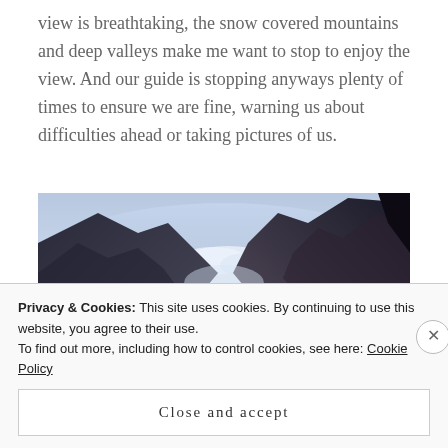view is breathtaking, the snow covered mountains and deep valleys make me want to stop to enjoy the view. And our guide is stopping anyways plenty of times to ensure we are fine, warning us about difficulties ahead or taking pictures of us.
[Figure (photo): Panoramic mountain valley photograph showing snow-covered peaks, rocky slopes, and a deep valley with hazy blue sky]
Privacy & Cookies: This site uses cookies. By continuing to use this website, you agree to their use.
To find out more, including how to control cookies, see here: Cookie Policy
Close and accept